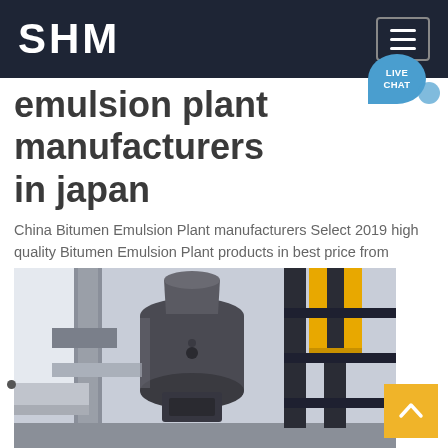SHM
emulsion plant manufacturers in japan
China Bitumen Emulsion Plant manufacturers Select 2019 high quality Bitumen Emulsion Plant products in best price from certified Chinese Plant manufacturers Steel Plant suppliers wholesalers and factory on Made in China Contact Supplier Japan Learn More
Chat Online
[Figure (photo): Industrial plant equipment showing large cylindrical machinery, pipes, ducts, and yellow structural framework in a factory setting]